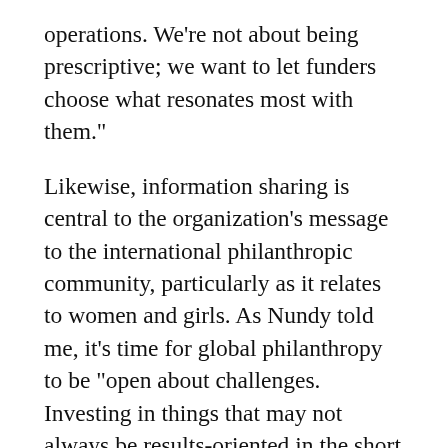operations. We're not about being prescriptive; we want to let funders choose what resonates most with them."
Likewise, information sharing is central to the organization's message to the international philanthropic community, particularly as it relates to women and girls. As Nundy told me, it's time for global philanthropy to be "open about challenges. Investing in things that may not always be results-oriented in the short term is okay. Addressing issues with an integrated approach. And taking risks even when the hoped-for results are not always clear."
See Bird...